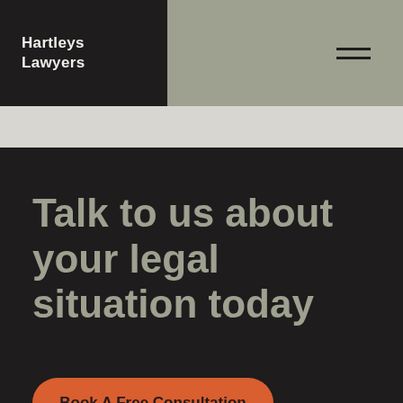Hartleys Lawyers
Talk to us about your legal situation today
Book A Free Consultation
(03) 8415 5600